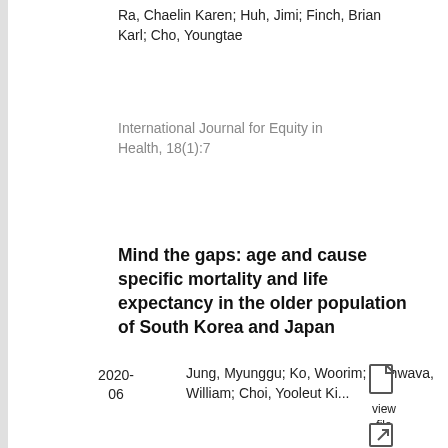Ra, Chaelin Karen; Huh, Jimi; Finch, Brian Karl; Cho, Youngtae
International Journal for Equity in Health, 18(1):7
Mind the gaps: age and cause specific mortality and life expectancy in the older population of South Korea and Japan
2020-06
Jung, Myunggu; Ko, Woorim; Muhwava, William; Choi, Yooleut Ki...